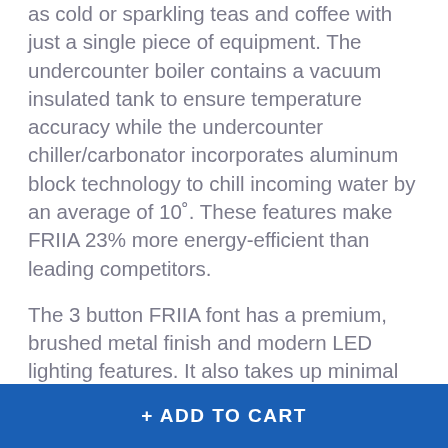as cold or sparkling teas and coffee with just a single piece of equipment. The undercounter boiler contains a vacuum insulated tank to ensure temperature accuracy while the undercounter chiller/carbonator incorporates aluminum block technology to chill incoming water by an average of 10˚. These features make FRIIA 23% more energy-efficient than leading competitors.
The 3 button FRIIA font has a premium, brushed metal finish and modern LED lighting features. It also takes up minimal countertop space as a response to the growing trend of clean, uncluttered counters.
FRIIA makes the process of preparing different temperature drinks more efficient and less wasteful. It is the perfect system for offices, canteens, gyms, schools, colleges and small coffee shops.
+ ADD TO CART